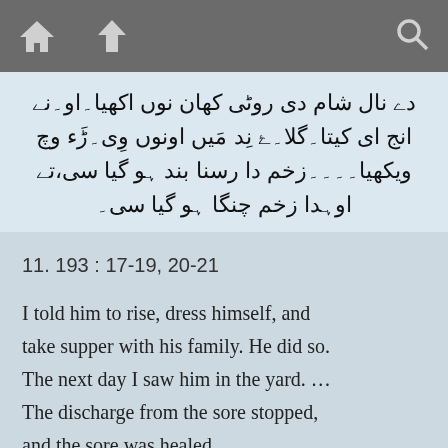[toolbar with home, up, and search icons]
دے نال شام دی روٹی کھان نوں اکھیا۔او۔نے انج ای کیتا۔گلا۔ۓ نِد مَیں اونوں وِی۔ڑَء وچ ویکھیا۔۔۔۔زخم دا رسنا بند ہو گیا سی،تے اوہدا زخم چنگا ہو گیا سی۔
11. 193 : 17-19, 20-21
I told him to rise, dress himself, and take supper with his family. He did so. The next day I saw him in the yard. … The discharge from the sore stopped, and the sore was healed.